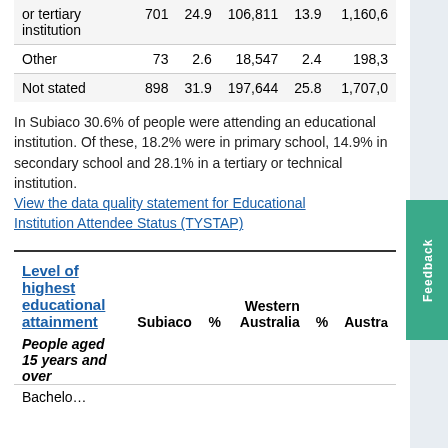|  | Subiaco | % | Western Australia | % | Austra... |
| --- | --- | --- | --- | --- | --- |
| or tertiary institution | 701 | 24.9 | 106,811 | 13.9 | 1,160,6 |
| Other | 73 | 2.6 | 18,547 | 2.4 | 198,3 |
| Not stated | 898 | 31.9 | 197,644 | 25.8 | 1,707,0 |
In Subiaco 30.6% of people were attending an educational institution. Of these, 18.2% were in primary school, 14.9% in secondary school and 28.1% in a tertiary or technical institution.
View the data quality statement for Educational Institution Attendee Status (TYSTAP)
Level of highest educational attainment
| Level of highest educational attainment | Subiaco | % | Western Australia | % | Austra... |
| --- | --- | --- | --- | --- | --- |
| People aged 15 years and over |  |  |  |  |  |
| Bachelo... |  |  |  |  |  |